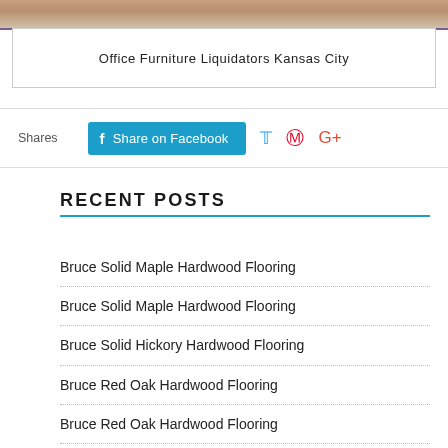[Figure (photo): Partial photo strip at top of page showing office furniture on carpet]
Office Furniture Liquidators Kansas City
Shares  Share on Facebook
RECENT POSTS
Bruce Solid Maple Hardwood Flooring
Bruce Solid Maple Hardwood Flooring
Bruce Solid Hickory Hardwood Flooring
Bruce Red Oak Hardwood Flooring
Bruce Red Oak Hardwood Flooring
Bruce Red Oak Hardwood Flooring
Bruce Red Oak Flooring